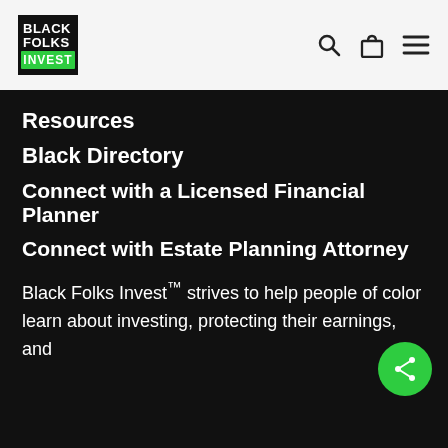Black Folks Invest — navigation header with logo, search, bag, and menu icons
Resources
Black Directory
Connect with a Licensed Financial Planner
Connect with Estate Planning Attorney
Black Folks Invest™ strives to help people of color learn about investing, protecting their earnings, and